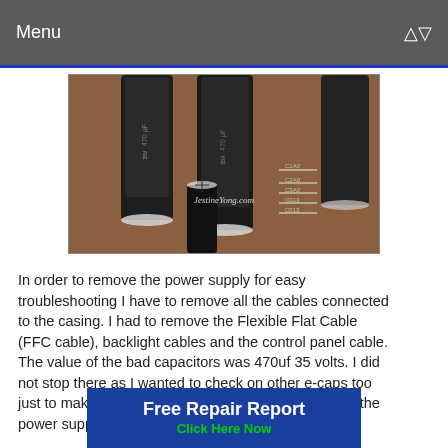Menu
[Figure (photo): Close-up photo of electrolytic capacitors on a circuit board, showing cylindrical black capacitors with markings. Watermark text reads JestineYong.com]
In order to remove the power supply for easy troubleshooting I have to remove all the cables connected to the casing. I had to remove the Flexible Flat Cable (FFC cable), backlight cables and the control panel cable. The value of the bad capacitors was 470uf 35 volts. I did not stop there as I wanted to check on other e-caps too just to make sure there are no marginal capacitors in the power supply section. I found the oth
[Figure (other): Advertisement banner: Free Repair Report - Click Here Now]